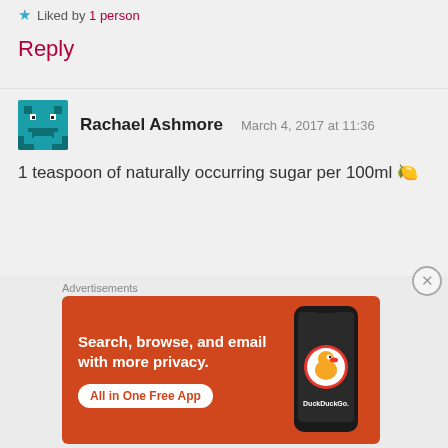★ Liked by 1 person
Reply
Rachael Ashmore   March 4, 2017 at 11:36
1 teaspoon of naturally occurring sugar per 100ml 🍋
★ Liked by 1 person
Reply
[Figure (screenshot): DuckDuckGo advertisement banner with orange background. Text: 'Search, browse, and email with more privacy. All in One Free App'. Shows a phone with the DuckDuckGo app logo.]